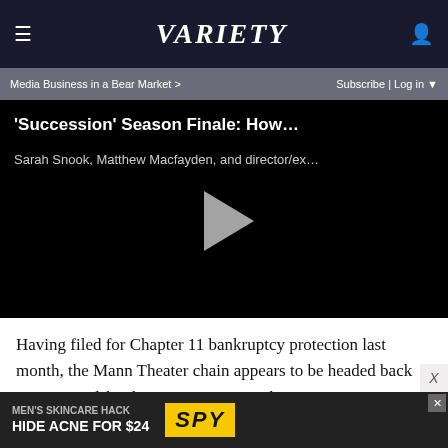VARIETY
Media Business in a Bear Market >   Subscribe | Log in
[Figure (screenshot): Video player thumbnail showing black background with white text title ''Succession' Season Finale: How...' and subtitle 'Sarah Snook, Matthew Macfayden, and director/ex...' with a gray play button triangle in the center]
Having filed for Chapter 11 bankruptcy protection last month, the Mann Theater chain appears to be headed back into stewardship by Cineamerica — the joint Paramount-Warner Bros. exhibition venture that operated the circuit
[Figure (screenshot): Advertisement banner: MEN'S SKINCARE HACK HIDE ACNE FOR $24 with SPY logo on yellow background]